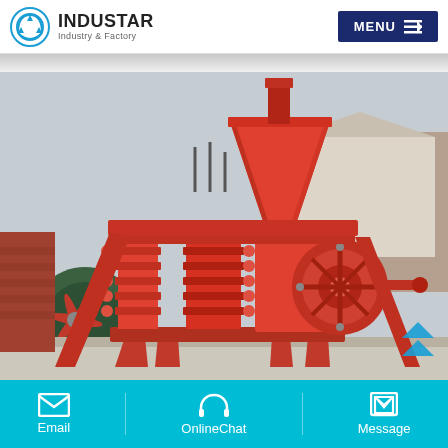INDUSTAR Industry & Factory — MENU
[Figure (photo): Industrial red briquette press / roller compactor machine photographed outdoors at a factory yard. The machine is painted bright red/orange and features a hopper on top, roller press mechanism, and a heavy steel frame structure. Background shows industrial buildings and machinery.]
Email   OnlineChat   Message